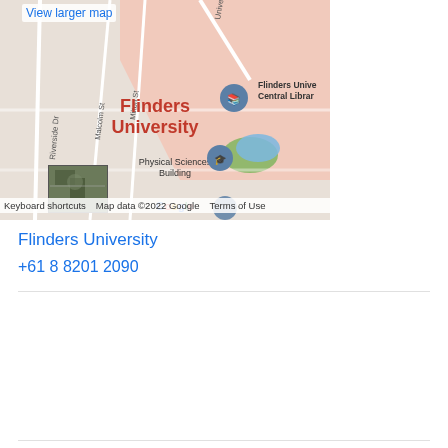[Figure (map): Google Map showing Flinders University campus area with street labels (Riverside Dr, Malcolm St, Milton St), Flinders University label in red, Physical Sciences Building label, Flinders University Central Library marker, Google logo, and a satellite thumbnail inset. Map data ©2022 Google.]
View larger map
Keyboard shortcuts   Map data ©2022 Google   Terms of Use
Flinders University
+61 8 8201 2090